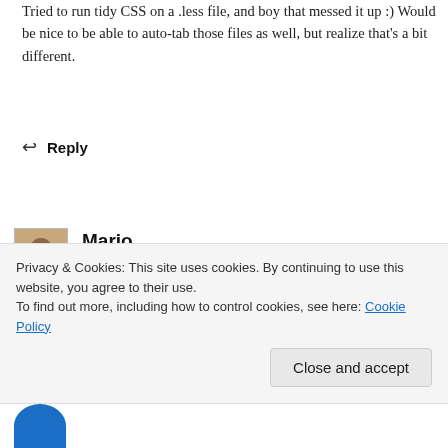Tried to run tidy CSS on a .less file, and boy that messed it up :) Would be nice to be able to auto-tab those files as well, but realize that's a bit different.
Reply
Mario
APRIL 2, 2019 AT 19:26
Privacy & Cookies: This site uses cookies. By continuing to use this website, you agree to their use.
To find out more, including how to control cookies, see here: Cookie Policy
Close and accept